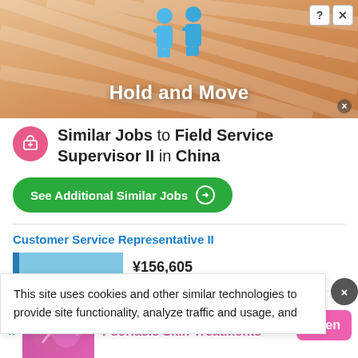[Figure (screenshot): Top advertisement banner showing 'Hold and Move' game ad with blue cartoon figures on a wooden/striped background. Has close (X) and help (?) buttons in top right, and a small × close icon bottom right.]
Similar Jobs to Field Service Supervisor II in China
See Additional Similar Jobs →
Customer Service Representative II
¥156,605
This site uses cookies and other similar technologies to provide site functionality, analyze traffic and usage, and
[Figure (screenshot): Bottom advertisement banner for Psoriasis Skin Treatments / Psoriasis Remedies with pink image and Open button.]